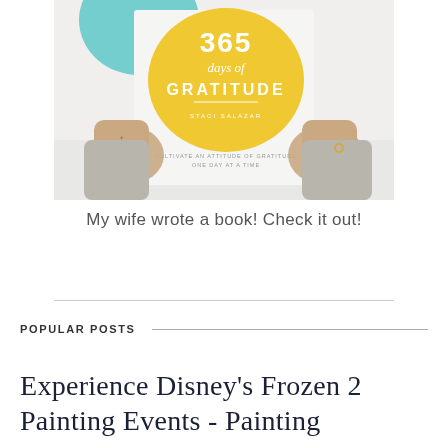[Figure (photo): A person holding up a book titled '365 days of GRATITUDE' with a yellow circle on the cover, wearing a knit sweater. The book subtitle reads 'Cultivate an attitude of gratitude one day at a time'.]
My wife wrote a book! Check it out!
POPULAR POSTS
Experience Disney's Frozen 2 Painting Events - Painting